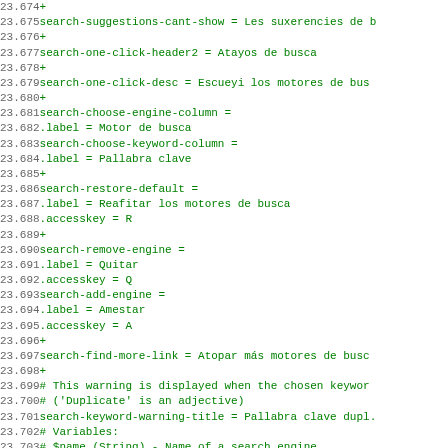Code diff / localization file showing lines 23.674 through 23.705 with line numbers and green plus markers for added lines, containing search-related localization keys and their Asturian translations.